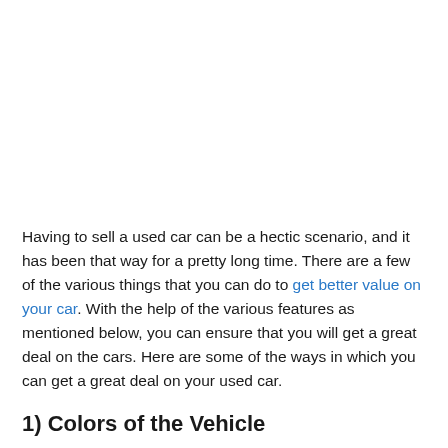Having to sell a used car can be a hectic scenario, and it has been that way for a pretty long time. There are a few of the various things that you can do to get better value on your car. With the help of the various features as mentioned below, you can ensure that you will get a great deal on the cars. Here are some of the ways in which you can get a great deal on your used car.
1) Colors of the Vehicle
Many buyers are concerned about picking vehicles that go with...